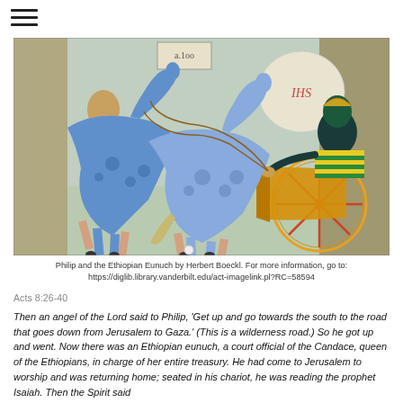[Figure (illustration): Colorful painting of Philip and the Ethiopian Eunuch by Herbert Boeckl, showing two blue horses pulling a chariot with a dark-skinned figure dressed in striped robes holding a scroll marked 'IHS', with another figure beside.]
Philip and the Ethiopian Eunuch by Herbert Boeckl. For more information, go to: https://diglib.library.vanderbilt.edu/act-imagelink.pl?RC=58594
Acts 8:26-40
Then an angel of the Lord said to Philip, 'Get up and go towards the south to the road that goes down from Jerusalem to Gaza.' (This is a wilderness road.) So he got up and went. Now there was an Ethiopian eunuch, a court official of the Candace, queen of the Ethiopians, in charge of her entire treasury. He had come to Jerusalem to worship and was returning home; seated in his chariot, he was reading the prophet Isaiah. Then the Spirit said